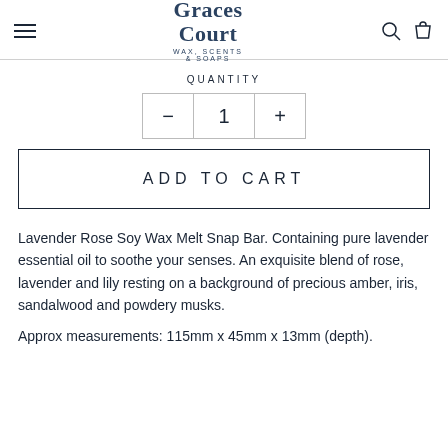Graces Court Wax, Scents & Soaps
QUANTITY
− 1 +
ADD TO CART
Lavender Rose Soy Wax Melt Snap Bar. Containing pure lavender essential oil to soothe your senses. An exquisite blend of rose, lavender and lily resting on a background of precious amber, iris, sandalwood and powdery musks.
Approx measurements: 115mm x 45mm x 13mm (depth).